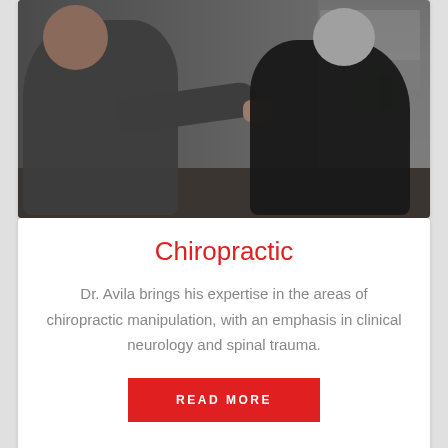[Figure (photo): A chiropractor (large man in dark grey shirt) applying hands-on treatment to the upper back/shoulder of a patient (older man with grey hair in black shirt) in a clinical setting. Medical equipment and supplies visible in background.]
Chiropractic
Dr. Avila brings his expertise in the areas of chiropractic manipulation, with an emphasis in clinical neurology and spinal trauma.
READ MORE
[Figure (photo): Partial view of a second card showing the beginning of another photo — appears to be an interior room with a dark wooden door frame against a tan/beige wall.]